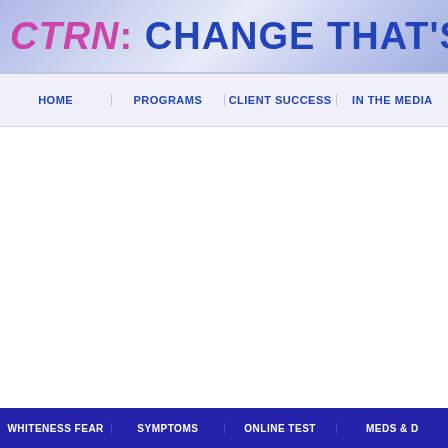CTRN: CHANGE THAT'S RIGHT
HOME | PROGRAMS | CLIENT SUCCESS | IN THE MEDIA
WHITENESS FEAR | SYMPTOMS | ONLINE TEST | MEDS & D